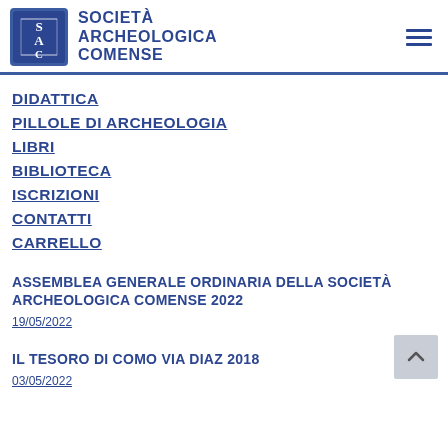[Figure (logo): Società Archeologica Comense logo with blue square emblem and text]
DIDATTICA
PILLOLE DI ARCHEOLOGIA
LIBRI
BIBLIOTECA
ISCRIZIONI
CONTATTI
CARRELLO
ASSEMBLEA GENERALE ORDINARIA DELLA SOCIETÀ ARCHEOLOGICA COMENSE 2022
19/05/2022
IL TESORO DI COMO VIA DIAZ 2018
03/05/2022